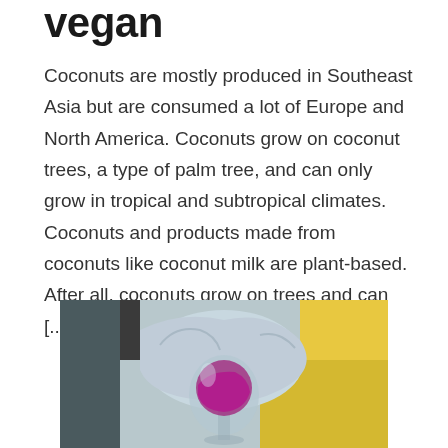vegan
Coconuts are mostly produced in Southeast Asia but are consumed a lot of Europe and North America. Coconuts grow on coconut trees, a type of palm tree, and can only grow in tropical and subtropical climates. Coconuts and products made from coconuts like coconut milk are plant-based. After all, coconuts grow on trees and can [...]
[Figure (photo): Photo of a gloved hand holding a wine glass with purple/magenta liquid, yellow background visible on the right.]